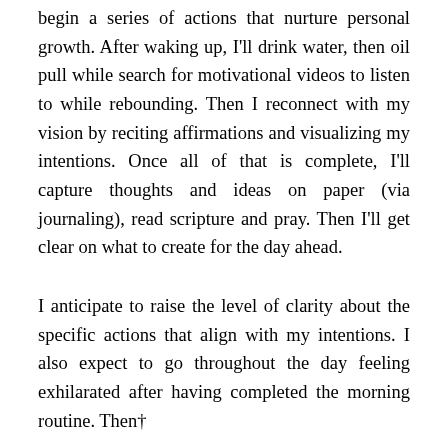begin a series of actions that nurture personal growth. After waking up, I'll drink water, then oil pull while search for motivational videos to listen to while rebounding. Then I reconnect with my vision by reciting affirmations and visualizing my intentions. Once all of that is complete, I'll capture thoughts and ideas on paper (via journaling), read scripture and pray. Then I'll get clear on what to create for the day ahead.
I anticipate to raise the level of clarity about the specific actions that align with my intentions. I also expect to go throughout the day feeling exhilarated after having completed the morning routine. Then